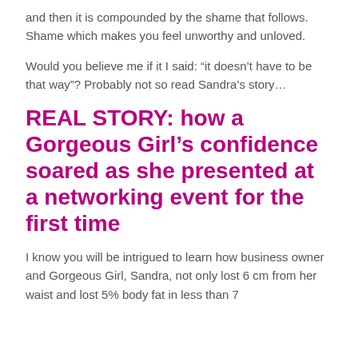and then it is compounded by the shame that follows. Shame which makes you feel unworthy and unloved.
Would you believe me if it I said: “it doesn’t have to be that way”? Probably not so read Sandra’s story…
REAL STORY: how a Gorgeous Girl’s confidence soared as she presented at a networking event for the first time
I know you will be intrigued to learn how business owner and Gorgeous Girl, Sandra, not only lost 6 cm from her waist and lost 5% body fat in less than 7